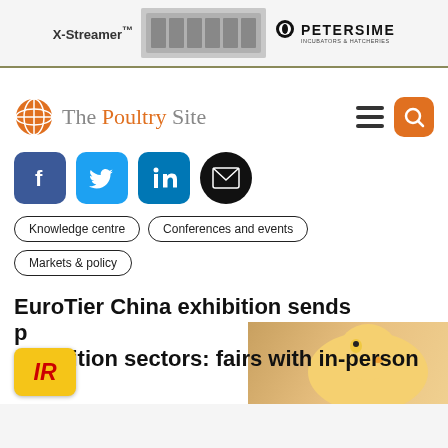[Figure (photo): Petersime X-Streamer incubator advertisement banner with machine image and logo]
[Figure (logo): The Poultry Site logo with orange globe icon, navigation hamburger menu and orange search button]
[Figure (infographic): Social sharing icons: Facebook (blue), Twitter (light blue), LinkedIn (dark blue), Email (black)]
Knowledge centre
Conferences and events
Markets & policy
EuroTier China exhibition sends positive signals for all exhibition sectors: fairs with in-person